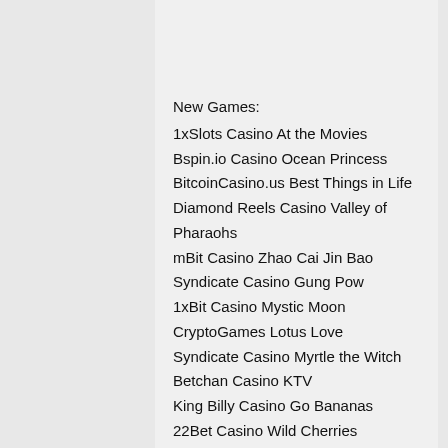New Games:
1xSlots Casino At the Movies
Bspin.io Casino Ocean Princess
BitcoinCasino.us Best Things in Life
Diamond Reels Casino Valley of Pharaohs
mBit Casino Zhao Cai Jin Bao
Syndicate Casino Gung Pow
1xBit Casino Mystic Moon
CryptoGames Lotus Love
Syndicate Casino Myrtle the Witch
Betchan Casino KTV
King Billy Casino Go Bananas
22Bet Casino Wild Cherries
BetChain Casino King of Slots
Cloudbet Casino Secrets of the Amazon
BitcoinCasino.us Fairy Tale
https://www.twistedopinionsandkinkedmetal.com/profile/tamerasemmler9313399/profile